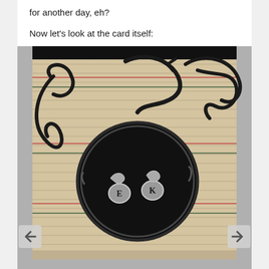for another day, eh?
Now let's look at the card itself:
[Figure (photo): Top-down photograph of two silver cufflinks with initials E and K placed inside a black paint can lid, resting on a striped decorative paper background with black ink swirl embellishments.]